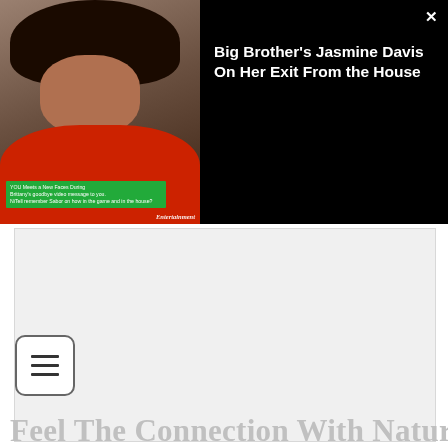[Figure (screenshot): Video player overlay showing a woman in a red outfit (Jasmine Davis from Big Brother) on the left thumbnail panel with a green caption box reading interview text, Entertainment watermark, and on the right a black panel with title 'Big Brother's Jasmine Davis On Her Exit From the House' and a close X button.]
Big Brother's Jasmine Davis On Her Exit From the House
[Figure (other): Gray rectangular content/ad placeholder area below the video overlay.]
Feel The Connection With Nature